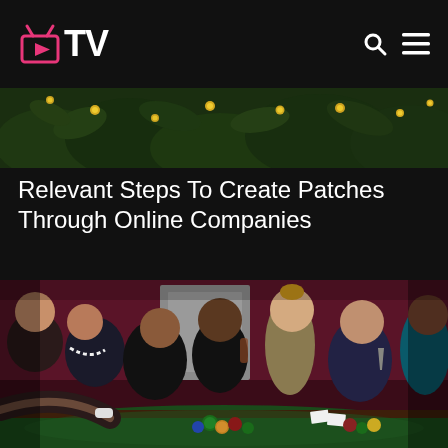OTV
[Figure (photo): Dark green foliage with small yellow flowers, horizontal banner image]
Relevant Steps To Create Patches Through Online Companies
[Figure (photo): Group of well-dressed people gathered around a casino table with poker chips, playing cards, and drinks. Dark red/maroon background.]